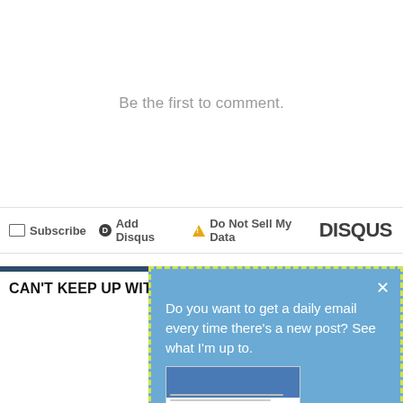Be the first to comment.
Subscribe  Add Disqus  Do Not Sell My Data  DISQUS
CAN'T KEEP UP WITH YOUR LITERATURE?
[Figure (screenshot): Popup overlay with blue background and yellow dashed border. Contains text: 'Do you want to get a daily email every time there's a new post? See what I'm up to.' and link 'Click here to get details and subscribe!' with a thumbnail image of a document.]